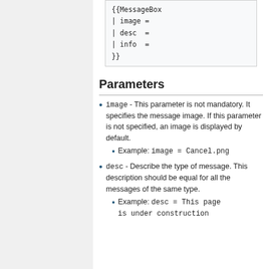{{MessageBox
| image =
| desc  =
| info  =
}}
Parameters
image - This parameter is not mandatory. It specifies the message image. If this parameter is not specified, an image is displayed by default.
  Example: image = Cancel.png
desc - Describe the type of message. This description should be equal for all the messages of the same type.
  Example: desc = This page is under construction